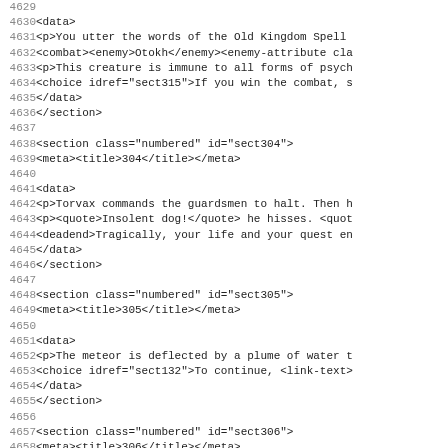Code listing lines 4629-4661 showing XML sections sect304, sect305, sect306 with data elements